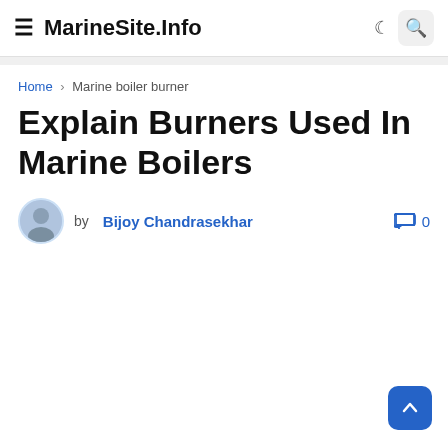MarineSite.Info
Home › Marine boiler burner
Explain Burners Used In Marine Boilers
by Bijoy Chandrasekhar  0